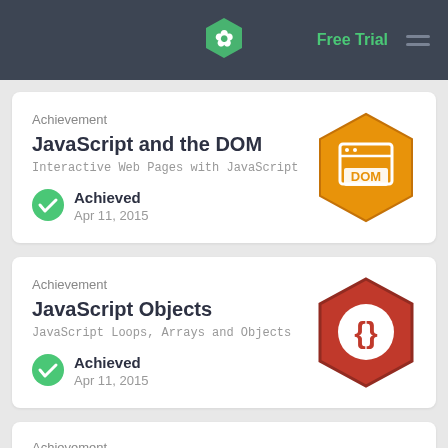Free Trial
Achievement
JavaScript and the DOM
Interactive Web Pages with JavaScript
Achieved
Apr 11, 2015
[Figure (illustration): Orange hexagon badge with DOM browser window icon]
Achievement
JavaScript Objects
JavaScript Loops, Arrays and Objects
Achieved
Apr 11, 2015
[Figure (illustration): Red hexagon badge with curly braces icon]
Achievement